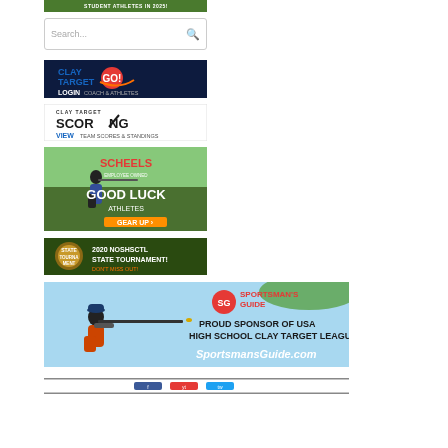[Figure (illustration): Green banner ad for student athletes in 2025]
[Figure (screenshot): Search box with magnifying glass icon]
[Figure (logo): Clay Target GO! Login Coach & Athletes banner ad]
[Figure (logo): Clay Target Scoring - View Team Scores & Standings banner ad]
[Figure (photo): Scheels Employee Owned - Good Luck Athletes Gear Up ad with female shooter]
[Figure (illustration): 2020 NOSHSCTL State Tournament - Don't Miss Out ad]
[Figure (photo): Sportsman's Guide - Proud Sponsor of USA High School Clay Target League ad with shooter]
[Figure (other): Footer bar with social media icons]